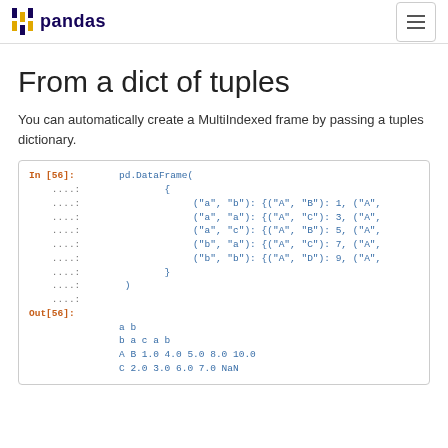pandas
From a dict of tuples
You can automatically create a MultiIndexed frame by passing a tuples dictionary.
In [56]: pd.DataFrame(
    ....:         {
    ....:              ("a", "b"): {("A", "B"): 1, ("A",
    ....:              ("a", "a"): {("A", "C"): 3, ("A",
    ....:              ("a", "c"): {("A", "B"): 5, ("A",
    ....:              ("b", "a"): {("A", "C"): 7, ("A",
    ....:              ("b", "b"): {("A", "D"): 9, ("A",
    ....:         }
    ....: )
    ....: 
Out[56]:
           a                   b
           b     a     c     a      b
A B  1.0   4.0   5.0   8.0  10.0
  C  2.0   3.0   6.0   7.0   NaN